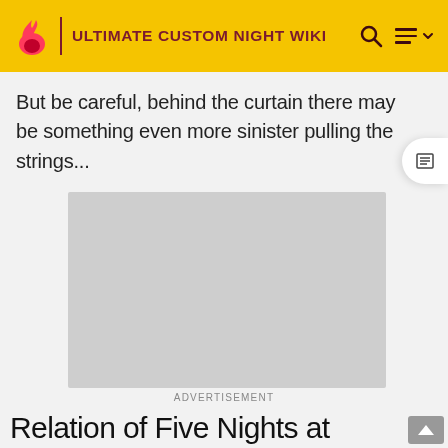ULTIMATE CUSTOM NIGHT WIKI
But be careful, behind the curtain there may be something even more sinister pulling the strings...
[Figure (other): Gray advertisement placeholder box]
ADVERTISEMENT
Relation of Five Nights at